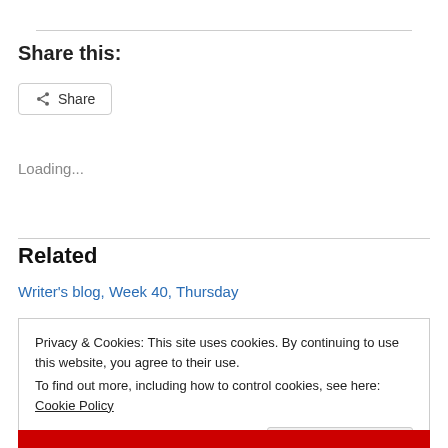Share this:
Share
Loading...
Related
Writer's blog, Week 40, Thursday
Privacy & Cookies: This site uses cookies. By continuing to use this website, you agree to their use.
To find out more, including how to control cookies, see here: Cookie Policy
Close and accept